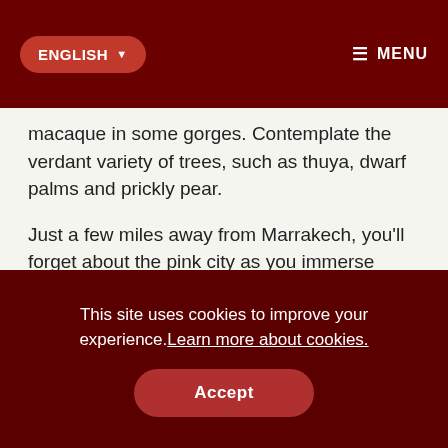ENGLISH   ☰ MENU
macaque in some gorges. Contemplate the verdant variety of trees, such as thuya, dwarf palms and prickly pear.
Just a few miles away from Marrakech, you'll forget about the pink city as you immerse yourself in the greenery and revel in nature's hands.
This site uses cookies to improve your experience. Learn more about cookies.
Accept